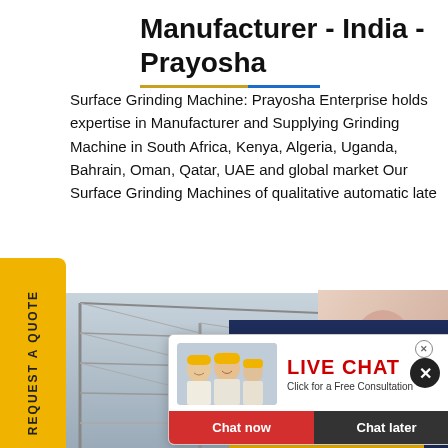Manufacturer - India - Prayosha
Surface Grinding Machine: Prayosha Enterprise holds expertise in Manufacturer and Supplying Grinding Machine in South Africa, Kenya, Algeria, Uganda, Bahrain, Oman, Qatar, UAE and global market Our Surface Grinding Machines of qualitative automatic late
[Figure (screenshot): Live chat popup with workers in yellow helmets, LIVE CHAT heading in red, Chat now and Chat later buttons]
[Figure (photo): Customer service representative with headset on right side]
[Figure (photo): Industrial building/scaffolding structure at bottom]
Have any requests, click here.
Quotation